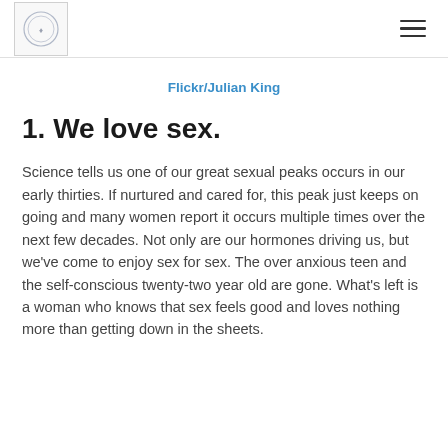Flickr/Julian King
1. We love sex.
Science tells us one of our great sexual peaks occurs in our early thirties. If nurtured and cared for, this peak just keeps on going and many women report it occurs multiple times over the next few decades. Not only are our hormones driving us, but we've come to enjoy sex for sex. The over anxious teen and the self-conscious twenty-two year old are gone. What's left is a woman who knows that sex feels good and loves nothing more than getting down in the sheets.